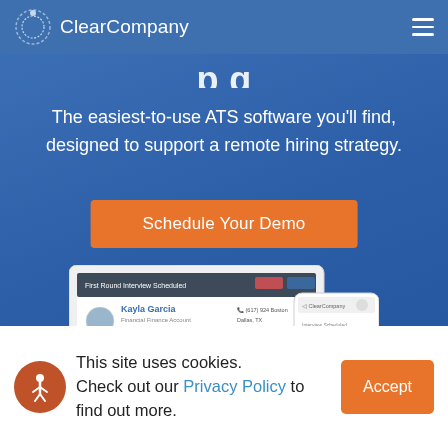ClearCompany
The easiest-to-use ATS software you'll find, designed to support a remote hiring strategy.
Schedule Your Demo
[Figure (screenshot): ClearCompany ATS application screenshot showing 'First Round Interview Scheduled' for Kayla Garcia, with profile tabs for Profile, Interviews, Hire, Timeline, and a Latest Events section. A mobile device overlay is also shown.]
This site uses cookies. Check out our Privacy Policy to find out more.
Accept